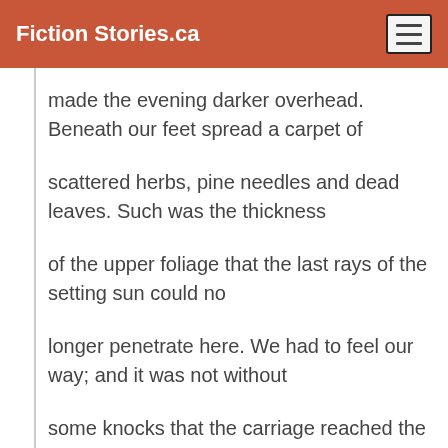Fiction Stories.ca
made the evening darker overhead. Beneath our feet spread a carpet of
scattered herbs, pine needles and dead leaves. Such was the thickness
of the upper foliage that the last rays of the setting sun could no
longer penetrate here. We had to feel our way; and it was not without
some knocks that the carriage reached the clearing ten minutes later.